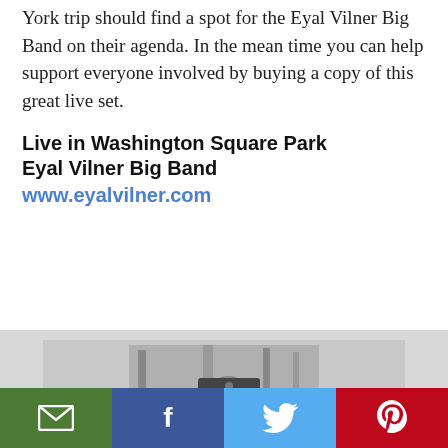York trip should find a spot for the Eyal Vilner Big Band on their agenda. In the mean time you can help support everyone involved by buying a copy of this great live set.
Live in Washington Square Park
Eyal Vilner Big Band
www.eyalvilner.com
[Figure (photo): Black and white photograph of a person in military-style uniform and cap, standing outdoors with trees in the background]